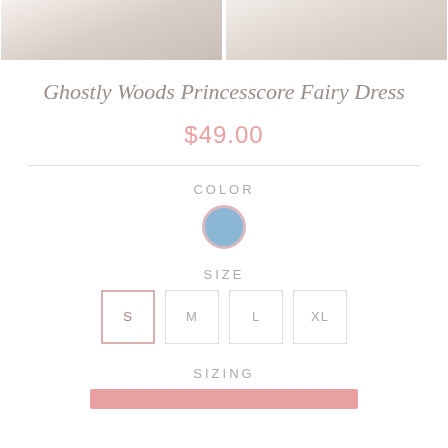[Figure (photo): Two product photos of a white fairy dress side by side]
Ghostly Woods Princesscore Fairy Dress
$49.00
COLOR
[Figure (other): Light blue color swatch circle with pink border]
SIZE
S  M  L  XL
SIZING